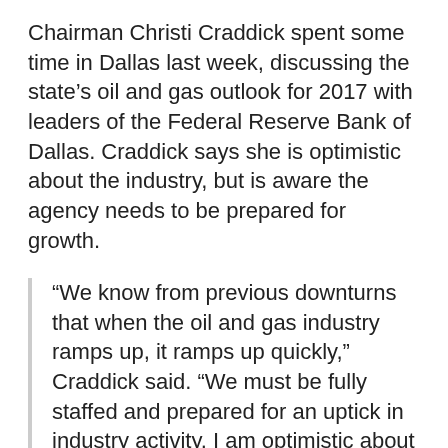Chairman Christi Craddick spent some time in Dallas last week, discussing the state's oil and gas outlook for 2017 with leaders of the Federal Reserve Bank of Dallas. Craddick says she is optimistic about the industry, but is aware the agency needs to be prepared for growth.
“We know from previous downturns that when the oil and gas industry ramps up, it ramps up quickly,” Craddick said. “We must be fully staffed and prepared for an uptick in industry activity. I am optimistic about oil and gas production growth in Texas this year, but look forward to seeing a continued rise in permitting and new drilling reports before we expect a significant shift within the industry. Until then, we will continue to move resources planned for permitting to other